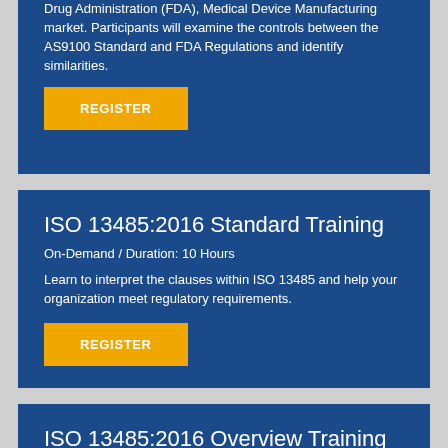Drug Administration (FDA), Medical Device Manufacturing market. Participants will examine the controls between the AS9100 Standard and FDA Regulations and identify similarities.
REGISTER
ISO 13485:2016 Standard Training
On-Demand / Duration: 10 Hours
Learn to interpret the clauses within ISO 13485 and help your organization meet regulatory requirements.
REGISTER
ISO 13485:2016 Overview Training
On-Demand / Duration: 4 Hours